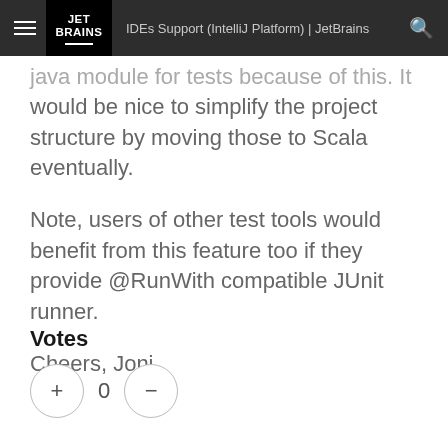IDEs Support (IntelliJ Platform) | JetBrains
java module for tests because of this. It would be nice to simplify the project structure by moving those to Scala eventually.
Note, users of other test tools would benefit from this feature too if they provide @RunWith compatible JUnit runner.
Cheers, Joni
Votes
+ 0 −